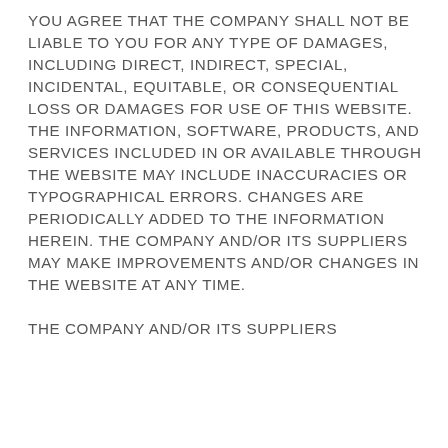YOU AGREE THAT THE COMPANY SHALL NOT BE LIABLE TO YOU FOR ANY TYPE OF DAMAGES, INCLUDING DIRECT, INDIRECT, SPECIAL, INCIDENTAL, EQUITABLE, OR CONSEQUENTIAL LOSS OR DAMAGES FOR USE OF THIS WEBSITE. THE INFORMATION, SOFTWARE, PRODUCTS, AND SERVICES INCLUDED IN OR AVAILABLE THROUGH THE WEBSITE MAY INCLUDE INACCURACIES OR TYPOGRAPHICAL ERRORS. CHANGES ARE PERIODICALLY ADDED TO THE INFORMATION HEREIN. THE COMPANY AND/OR ITS SUPPLIERS MAY MAKE IMPROVEMENTS AND/OR CHANGES IN THE WEBSITE AT ANY TIME.

THE COMPANY AND/OR ITS SUPPLIERS